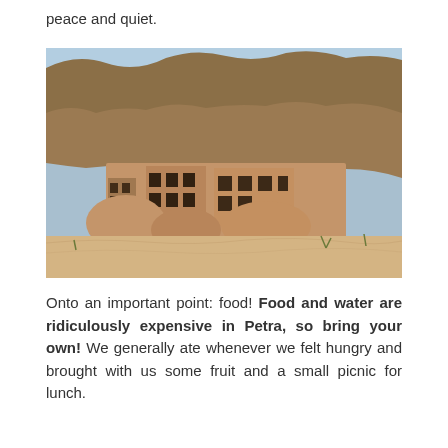peace and quiet.
[Figure (photo): Photograph of ancient rock-cut tombs and structures carved into sandstone cliffs at Petra, Jordan. The lower portion shows sandy ground with sparse desert vegetation, while the upper portion reveals rugged rocky cliffs against a blue sky.]
Onto an important point: food! Food and water are ridiculously expensive in Petra, so bring your own! We generally ate whenever we felt hungry and brought with us some fruit and a small picnic for lunch.